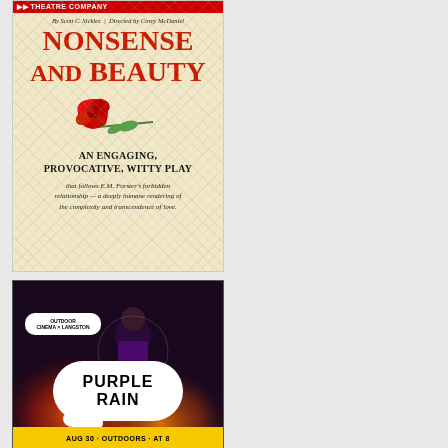[Figure (illustration): Theater poster for 'Nonsense and Beauty' by Scott C. Sickles, directed by Corey McDaniel. Cream/tan background with diamond pattern. Large red serif title text 'NONSENSE AND BEAUTY'. Red rose illustration. Text reads 'AN ENGAGING, PROVOCATIVE, WITTY PLAY that follows E.M. Forster's forbidden relationship — a deeply humane rendering of the complexity and transcendence of love.']
[Figure (photo): Movie poster for 'Purple Rain' showing Prince on a motorcycle with fire/explosion in background. White cloud-shaped bubble with bold text 'PURPLE RAIN'. Outdoor Cinema x Langston badge. Yellow bottom bar with date text.]